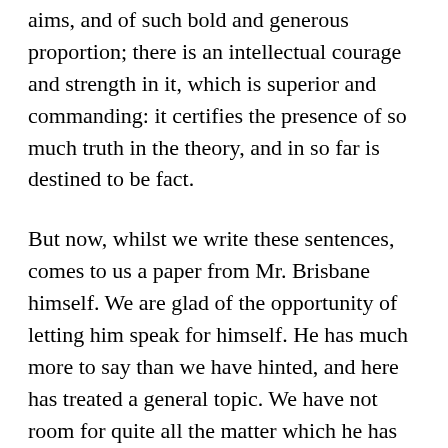aims, and of such bold and generous proportion; there is an intellectual courage and strength in it, which is superior and commanding: it certifies the presence of so much truth in the theory, and in so far is destined to be fact.
But now, whilst we write these sentences, comes to us a paper from Mr. Brisbane himself. We are glad of the opportunity of letting him speak for himself. He has much more to say than we have hinted, and here has treated a general topic. We have not room for quite all the matter which he has sent us, but persuade ourselves that we have retained every material statement, in spite of the omissions which we find it necessary to make, to contract his paper to so much room as we offered him.